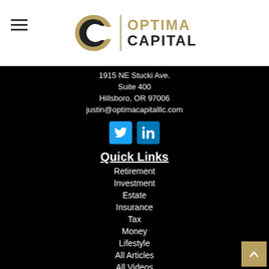[Figure (logo): Optima Capital logo with OC monogram and gold/black text]
1915 NE Stucki Ave.
Suite 400
Hillsboro, OR 97006
justin@optimacapitalllc.com
[Figure (other): Twitter and LinkedIn social media icon buttons]
Quick Links
Retirement
Investment
Estate
Insurance
Tax
Money
Lifestyle
All Articles
All Videos
All Calculators
All Presentations